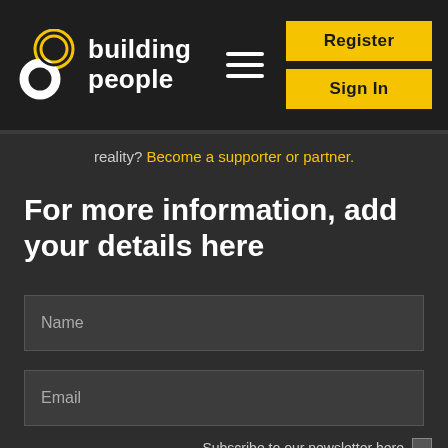[Figure (logo): Building People logo with interlocking circular icon in yellow and white, and 'building people' text in white]
Register
Sign In
reality? Become a supporter or partner.
For more information, add your details here
Name
Email
Subscribe to our newsletter here